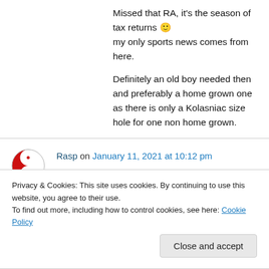Missed that RA, it's the season of tax returns 🙂 my only sports news comes from here.
Definitely an old boy needed then and preferably a home grown one as there is only a Kolasniac size hole for one non home grown.
Rasp on January 11, 2021 at 10:12 pm
Apparently we tried to buy David Raya from Brentford but they wanted too much … and he's
Privacy & Cookies: This site uses cookies. By continuing to use this website, you agree to their use.
To find out more, including how to control cookies, see here: Cookie Policy
Close and accept